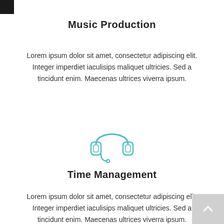Music Production
Lorem ipsum dolor sit amet, consectetur adipiscing elit. Integer imperdiet iaculisips maliquet ultricies. Sed a tincidunt enim. Maecenas ultrices viverra ipsum.
[Figure (illustration): Teal/cyan outline icon of a headset with microphone]
Time Management
Lorem ipsum dolor sit amet, consectetur adipiscing elit. Integer imperdiet iaculisips maliquet ultricies. Sed a tincidunt enim. Maecenas ultrices viverra ipsum.